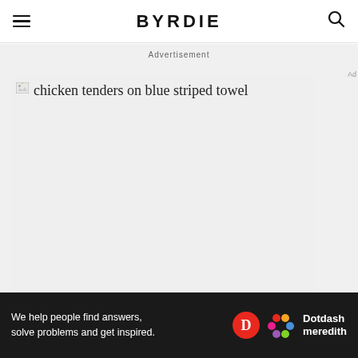BYRDIE
Advertisement
[Figure (photo): Broken image placeholder showing alt text: chicken tenders on blue striped towel]
We help people find answers, solve problems and get inspired. Dotdash meredith